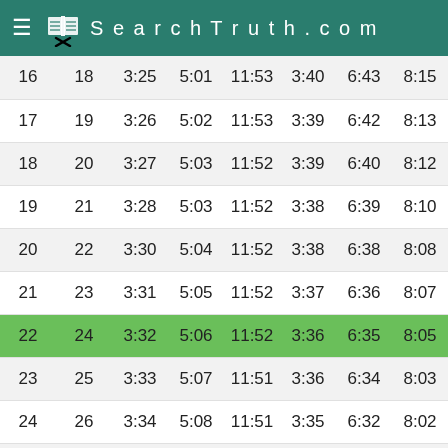SearchTruth.com
| 16 | 18 | 3:25 | 5:01 | 11:53 | 3:40 | 6:43 | 8:15 |
| 17 | 19 | 3:26 | 5:02 | 11:53 | 3:39 | 6:42 | 8:13 |
| 18 | 20 | 3:27 | 5:03 | 11:52 | 3:39 | 6:40 | 8:12 |
| 19 | 21 | 3:28 | 5:03 | 11:52 | 3:38 | 6:39 | 8:10 |
| 20 | 22 | 3:30 | 5:04 | 11:52 | 3:38 | 6:38 | 8:08 |
| 21 | 23 | 3:31 | 5:05 | 11:52 | 3:37 | 6:36 | 8:07 |
| 22 | 24 | 3:32 | 5:06 | 11:52 | 3:36 | 6:35 | 8:05 |
| 23 | 25 | 3:33 | 5:07 | 11:51 | 3:36 | 6:34 | 8:03 |
| 24 | 26 | 3:34 | 5:08 | 11:51 | 3:35 | 6:32 | 8:02 |
| 25 | 27 | 3:36 | 5:09 | 11:51 | 3:34 | 6:31 | 8:00 |
| 26 | 28 | 3:37 | 5:10 | 11:50 | 3:34 | 6:29 | 7:58 |